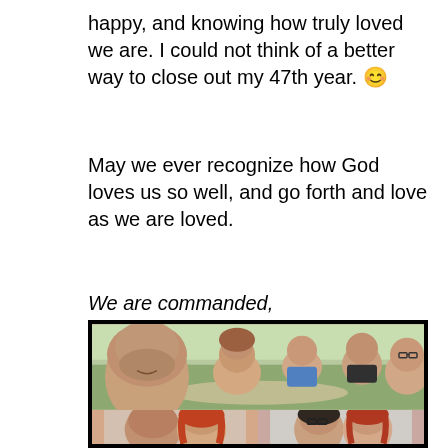happy, and knowing how truly loved we are. I could not think of a better way to close out my 47th year. 😊
May we ever recognize how God loves us so well, and go forth and love as we are loved.
We are commanded,
[Figure (photo): A group photo of five people sitting around a table playing a board game outdoors with a scenic landscape in the background. Below are two smaller photos: one showing a bald man and a red-haired woman, and another showing two women together.]